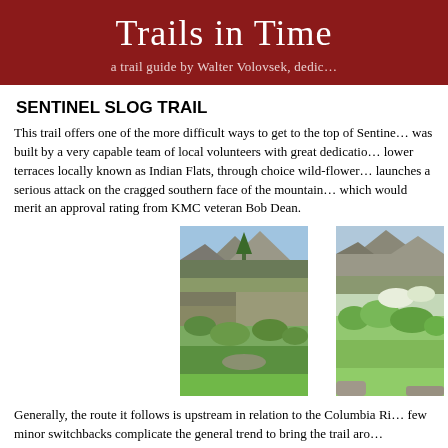Trails in Time — a trail guide by Walter Volovsek, dedic…
SENTINEL SLOG TRAIL
This trail offers one of the more difficult ways to get to the top of Sentine… was built by a very capable team of local volunteers with great dedicatio… lower terraces locally known as Indian Flats, through choice wild-flower… launches a serious attack on the cragged southern face of the mountain… which would merit an approval rating from KMC veteran Bob Dean.
[Figure (photo): Photograph of a mountain trail with rugged rocky peaks and lush green vegetation in the foreground]
[Figure (photo): Photograph of rocky crags with dense green shrubs and trees in foreground]
Generally, the route it follows is upstream in relation to the Columbia Ri… few minor switchbacks complicate the general trend to bring the trail aro… Eventually, when about halfway up, the trail abruptly reverses direction…